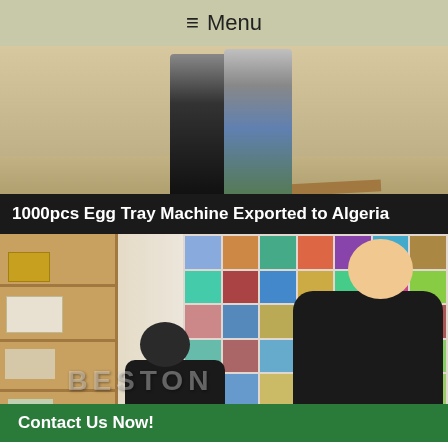≡ Menu
[Figure (photo): Two people standing together in what appears to be a warehouse or factory floor. A gray steel cabinet is visible in the background. The floor is light-colored concrete.]
1000pcs Egg Tray Machine Exported to Algeria
[Figure (photo): An Asian man in a black leather jacket sitting at a desk or table. Behind him is a wall covered with a collage of many photographs. On the left side is a wooden bookshelf with items on it. A darker-skinned person is seated in front, partially visible. A watermark reading 'BESTON' is overlaid on the image. A green 'Contact Us Now!' banner is at the bottom of the image.]